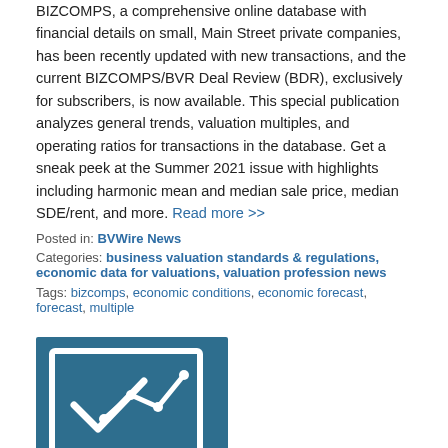BIZCOMPS, a comprehensive online database with financial details on small, Main Street private companies, has been recently updated with new transactions, and the current BIZCOMPS/BVR Deal Review (BDR), exclusively for subscribers, is now available. This special publication analyzes general trends, valuation multiples, and operating ratios for transactions in the database. Get a sneak peek at the Summer 2021 issue with highlights including harmonic mean and median sale price, median SDE/rent, and more. Read more >>
Posted in: BVWire News
Categories: business valuation standards & regulations, economic data for valuations, valuation profession news
Tags: bizcomps, economic conditions, economic forecast, forecast, multiple
[Figure (logo): Blog icon with a checkmark chart graphic and 'BLOG' text label on a dark teal square background]
02 / August 2021
Wholesale Trade: Sales and Inventories